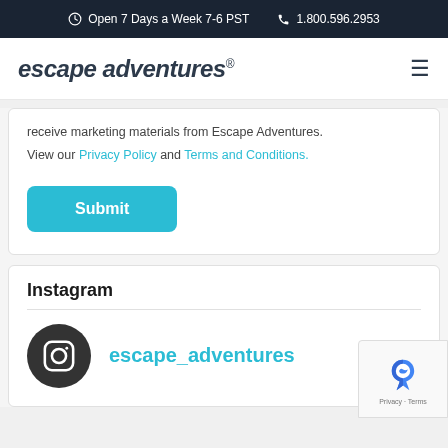Open 7 Days a Week 7-6 PST   1.800.596.2953
escape adventures®
receive marketing materials from Escape Adventures.
View our Privacy Policy and Terms and Conditions.
Submit
Instagram
escape_adventures